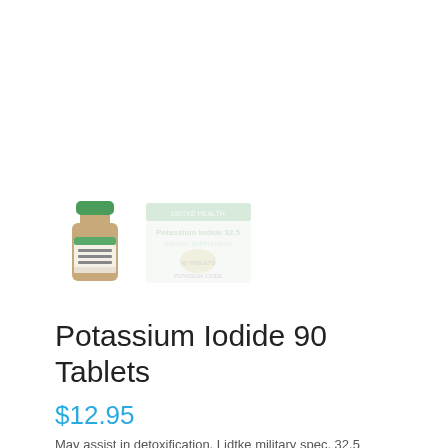[Figure (photo): Two product images: a small bottle of Potassium Iodide supplement with a green cap, and a faded/washed-out image of the product label showing 'Potassium Iodide 32.5' text]
Potassium Iodide 90 Tablets
$12.95
May assist in detoxification. Lidtke military spec. 32.5